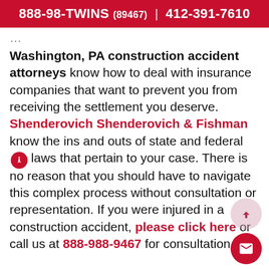888-98-TWINS (89467)  |  412-391-7610
Washington, PA construction accident attorneys know how to deal with insurance companies that want to prevent you from receiving the settlement you deserve. Shenderovich Shenderovich & Fishman know the ins and outs of state and federal laws that pertain to your case. There is no reason that you should have to navigate this complex process without consultation or representation. If you were injured in a construction accident, please click here or call us at 888-988-9467 for consultation.